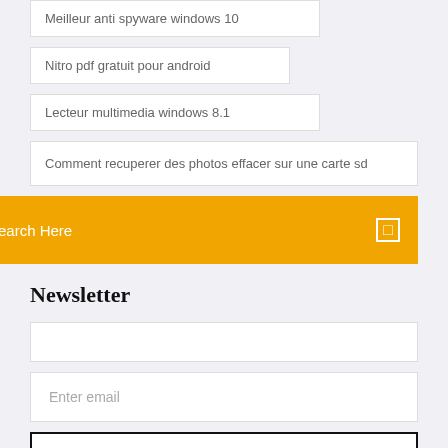Meilleur anti spyware windows 10
Nitro pdf gratuit pour android
Lecteur multimedia windows 8.1
Comment recuperer des photos effacer sur une carte sd
Search Here
Newsletter
Enter email
Subscribe